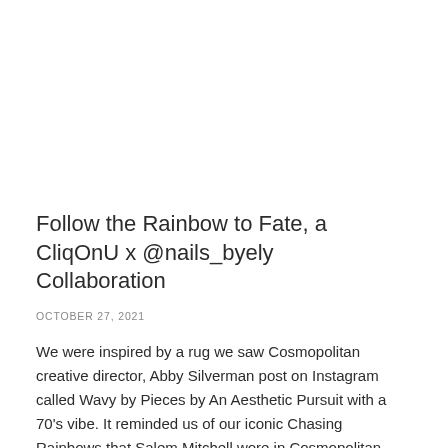Follow the Rainbow to Fate, a CliqOnU x @nails_byely Collaboration
OCTOBER 27, 2021
We were inspired by a rug we saw Cosmopolitan creative director, Abby Silverman post on Instagram called Wavy by Pieces by An Aesthetic Pursuit with a 70's vibe. It reminded us of our iconic Chasing Rainbows that Salem Mitchell wore in Cosmopolitan. The stars aligned and Abby's personal manicurist, Elizabeth Garcia aka @nails_byely was introduced to CliqOnU. We don't believe in chance. We DO believe in fate.